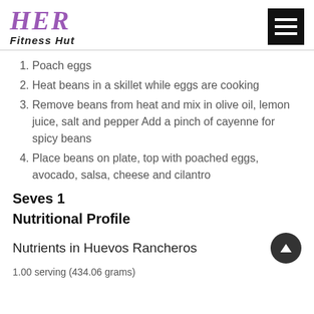HER Fitness Hut
Poach eggs
Heat beans in a skillet while eggs are cooking
Remove beans from heat and mix in olive oil, lemon juice, salt and pepper Add a pinch of cayenne for spicy beans
Place beans on plate, top with poached eggs, avocado, salsa, cheese and cilantro
Seves 1
Nutritional Profile
Nutrients in Huevos Rancheros
1.00 serving (434.06 grams)